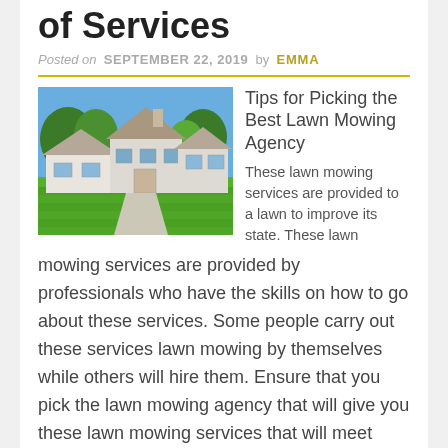of Services
Posted on SEPTEMBER 22, 2019 by EMMA
[Figure (photo): A white house with a well-manicured green lawn, trees in the background, blue sky.]
Tips for Picking the Best Lawn Mowing Agency
These lawn mowing services are provided to a lawn to improve its state. These lawn mowing services are provided by professionals who have the skills on how to go about these services. Some people carry out these services lawn mowing by themselves while others will hire them. Ensure that you pick the lawn mowing agency that will give you these lawn mowing services that will meet your needs. The report herein illustrates the factors that you need to check when finding the best lawn mowing service provider.